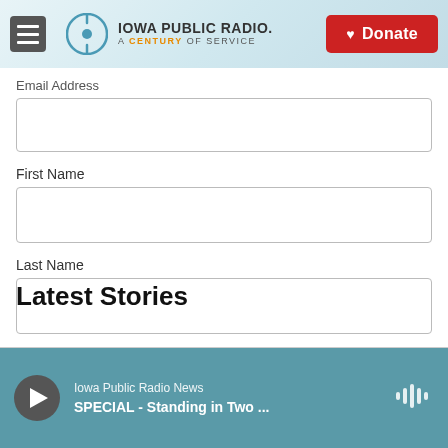Iowa Public Radio. A Century of Service. Donate
Email Address
First Name
Last Name
Subscribe
Latest Stories
Iowa Public Radio News — SPECIAL - Standing in Two ...